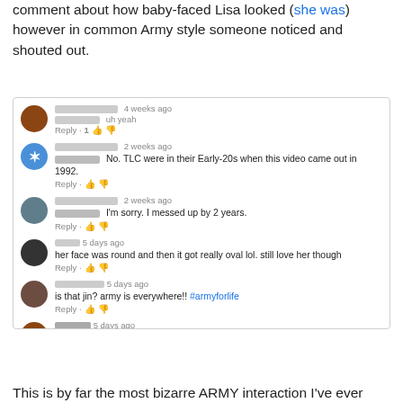comment about how baby-faced Lisa looked (she was) however in common Army style someone noticed and shouted out.
[Figure (screenshot): Screenshot of YouTube comment section showing 6 comments. Comment 1 (4 weeks ago): 'uh yeah'. Comment 2 (2 weeks ago): 'No. TLC were in their Early-20s when this video came out in 1992.' Comment 3 (2 weeks ago): 'I'm sorry. I messed up by 2 years.' Comment 4 (5 days ago): 'her face was round and then it got really oval lol. still love her though'. Comment 5 (5 days ago): 'is that jin? army is everywhere!! #armyforlife'. Comment 6 (5 days ago): 'Yes it is! Happy BTS day btw!']
This is by far the most bizarre ARMY interaction I've ever